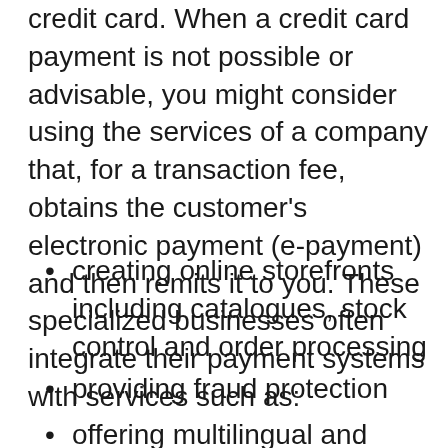credit card. When a credit card payment is not possible or advisable, you might consider using the services of a company that, for a transaction fee, obtains the customer's electronic payment (e-payment) and then remits it to you. These specialized businesses often integrate their payment systems with services such as:
creating online storefronts including catalogues, stock control and order processing
providing fraud protection
offering multilingual and